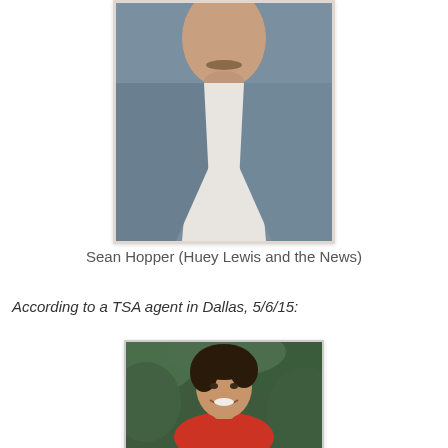[Figure (photo): Close-up photo of a man wearing a suit jacket with a red and blue striped tie and white dress shirt, mustache visible, cropped at chin/chest level]
Sean Hopper (Huey Lewis and the News)
According to a TSA agent in Dallas, 5/6/15:
[Figure (photo): Photo of a smiling young man with dark curly hair wearing a red shirt, with green foliage in the background]